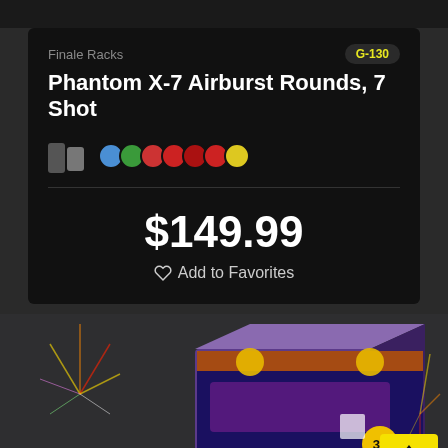Finale Racks
G-130
Phantom X-7 Airburst Rounds, 7 Shot
$149.99
Add to Favorites
[Figure (photo): Product box of Phantom Rounds fireworks (Thunder Mountain), colorful box with fireworks imagery, number 33 visible on side]
TOP